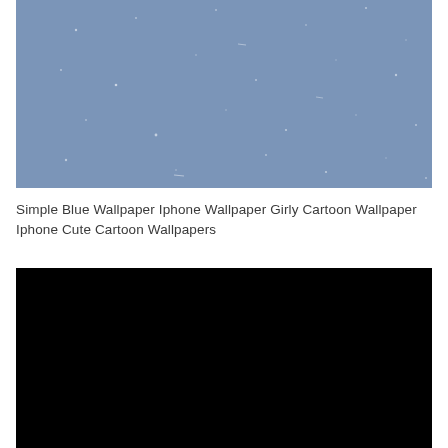[Figure (photo): A blue-grey sky photograph with scattered light dust or snow particles visible against the muted blue background.]
Simple Blue Wallpaper Iphone Wallpaper Girly Cartoon Wallpaper Iphone Cute Cartoon Wallpapers
[Figure (photo): A mostly black/dark image, appearing as a very dark or underexposed photograph.]